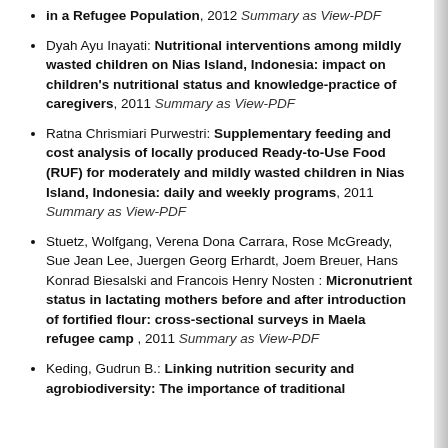in a Refugee Population, 2012 Summary as View-PDF
Dyah Ayu Inayati: Nutritional interventions among mildly wasted children on Nias Island, Indonesia: impact on children's nutritional status and knowledge-practice of caregivers, 2011 Summary as View-PDF
Ratna Chrismiari Purwestri: Supplementary feeding and cost analysis of locally produced Ready-to-Use Food (RUF) for moderately and mildly wasted children in Nias Island, Indonesia: daily and weekly programs, 2011 Summary as View-PDF
Stuetz, Wolfgang, Verena Dona Carrara, Rose McGready, Sue Jean Lee, Juergen Georg Erhardt, Joem Breuer, Hans Konrad Biesalski and Francois Henry Nosten : Micronutrient status in lactating mothers before and after introduction of fortified flour: cross-sectional surveys in Maela refugee camp , 2011 Summary as View-PDF
Keding, Gudrun B.: Linking nutrition security and agrobiodiversity: The importance of traditional